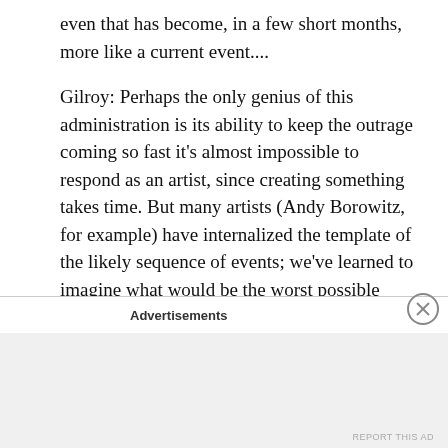even that has become, in a few short months, more like a current event....

Gilroy: Perhaps the only genius of this administration is its ability to keep the outrage coming so fast it's almost impossible to respond as an artist, since creating something takes time. But many artists (Andy Borowitz, for example) have internalized the template of the likely sequence of events; we've learned to imagine what would be the worst possible course of action that no rational person would undertake and then simply wait for it to actually happen. Predicting things in this era is easy once you push aside your expectation of ethics
Advertisements